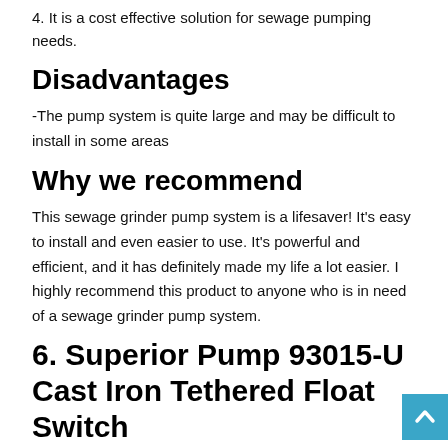4. It is a cost effective solution for sewage pumping needs.
Disadvantages
-The pump system is quite large and may be difficult to install in some areas
Why we recommend
This sewage grinder pump system is a lifesaver! It's easy to install and even easier to use. It's powerful and efficient, and it has definitely made my life a lot easier. I highly recommend this product to anyone who is in need of a sewage grinder pump system.
6. Superior Pump 93015-U Cast Iron Tethered Float Switch